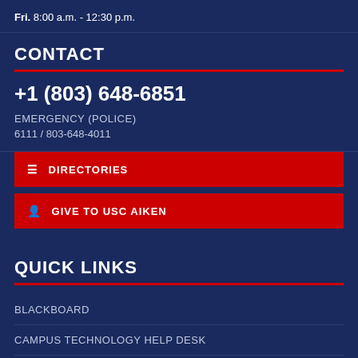Fri. 8:00 a.m. - 12:30 p.m.
CONTACT
+1 (803) 648-6851
EMERGENCY (POLICE)
6111 / 803-648-4011
DIRECTORIES
GIVE TO USC AIKEN
QUICK LINKS
BLACKBOARD
CAMPUS TECHNOLOGY HELP DESK
EMAIL